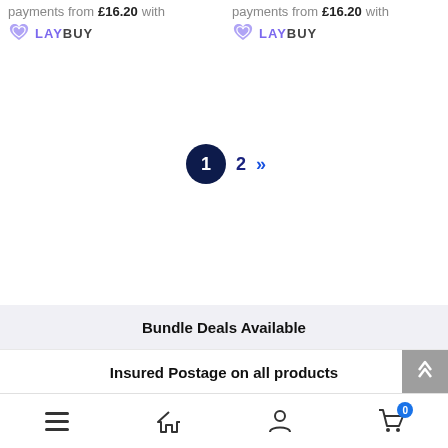payments from £16.20 with LAYBUY
payments from £16.20 with LAYBUY
1  2  »
Bundle Deals Available
Insured Postage on all products
≡  🏠  👤  🛒 0